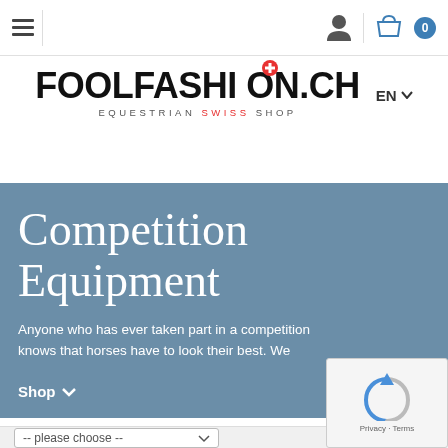Navigation bar with hamburger menu, user icon, basket icon and item count 0
[Figure (logo): FOOLFASHION.CH logo with Swiss cross circle above the O, subtitle EQUESTRIAN SWISS SHOP, and EN language selector with dropdown arrow]
Competition Equipment
Anyone who has ever taken part in a competition knows that horses have to look their best. We
Shop ▾
[Figure (screenshot): Dropdown filter: -- please choose --]
[Figure (other): reCAPTCHA widget overlay showing spinning arrows logo and Privacy · Terms text]